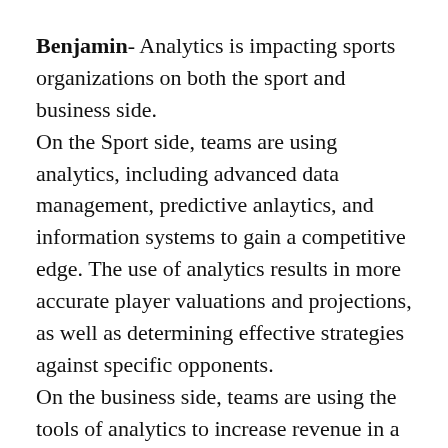Benjamin- Analytics is impacting sports organizations on both the sport and business side. On the Sport side, teams are using analytics, including advanced data management, predictive anlaytics, and information systems to gain a competitive edge. The use of analytics results in more accurate player valuations and projections, as well as determining effective strategies against specific opponents. On the business side, teams are using the tools of analytics to increase revenue in a variety of ways including dynamic ticket pricing and optimizing of the placement of concession stands.